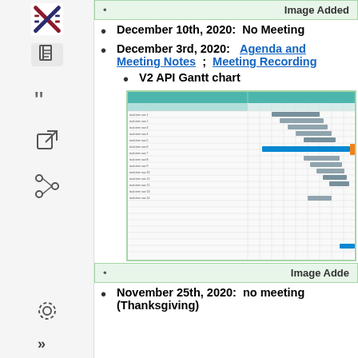[Figure (screenshot): Top green banner with 'Image Added' text (partially visible at top)]
December 10th, 2020: No Meeting
December 3rd, 2020: Agenda and Meeting Notes ; Meeting Recording
V2 API Gantt chart
[Figure (engineering-diagram): V2 API Gantt chart screenshot showing project tasks with timeline bars spanning multiple weeks]
[Figure (screenshot): Green banner with 'Image Added' text]
November 25th, 2020: no meeting (Thanksgiving)